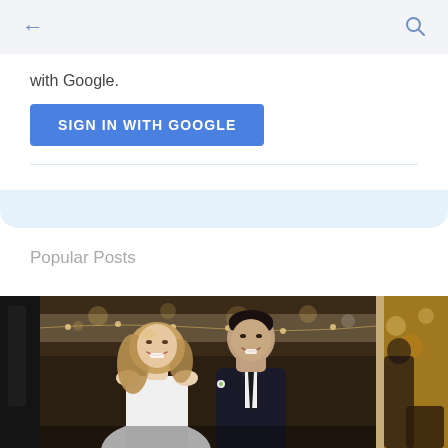← [back arrow]   [search icon]
with Google.
SIGN IN WITH GOOGLE
Popular Posts
[Figure (photo): A smiling couple in wedding attire — a blonde woman in a white dress and a man in a dark suit with a tie — photographed indoors with bokeh string lights in the background. The image is part of a horizontal photo strip showing partial views of adjacent photos on left and right.]